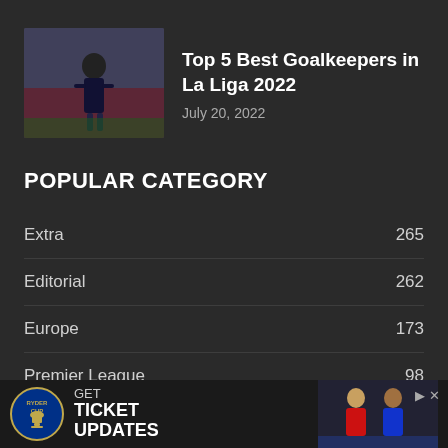[Figure (photo): Thumbnail image of a goalkeeper on a football pitch]
Top 5 Best Goalkeepers in La Liga 2022
July 20, 2022
POPULAR CATEGORY
Extra  265
Editorial  262
Europe  173
Premier League  98
Facts  72
Africa  50
[Figure (infographic): Ryder Cup advertisement banner: GET TICKET UPDATES with Ryder Cup logo and tennis players photo]